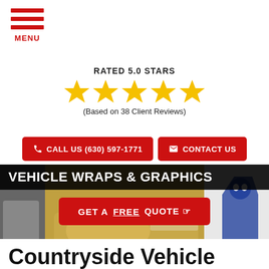[Figure (illustration): Hamburger menu icon with three red horizontal bars and MENU label in red]
RATED 5.0 STARS
[Figure (illustration): Five gold star rating icons]
(Based on 38 Client Reviews)
CALL US (630) 597-1771
CONTACT US
[Figure (photo): Collage of vehicle wraps including yellow/white branded cars, a truck, and a blue mascot graphic on white panel]
VEHICLE WRAPS & GRAPHICS
GET A FREE QUOTE
DESIGN | PRODUCTION | INSTALLATION
Countryside Vehicle